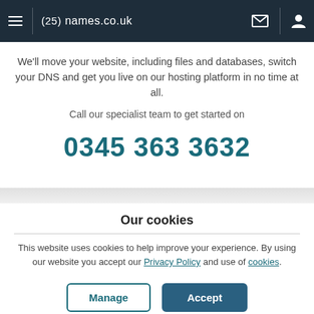(25) names.co.uk
We'll move your website, including files and databases, switch your DNS and get you live on our hosting platform in no time at all.
Call our specialist team to get started on
0345 363 3632
Our cookies
This website uses cookies to help improve your experience. By using our website you accept our Privacy Policy and use of cookies.
Manage | Accept